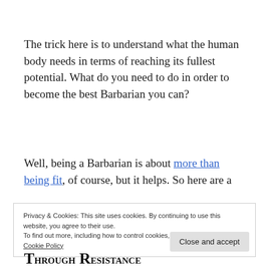The trick here is to understand what the human body needs in terms of reaching its fullest potential. What do you need to do in order to become the best Barbarian you can?
Well, being a Barbarian is about more than being fit, of course, but it helps. So here are a
Privacy & Cookies: This site uses cookies. By continuing to use this website, you agree to their use.
To find out more, including how to control cookies, see here:
Cookie Policy
Through Resistance